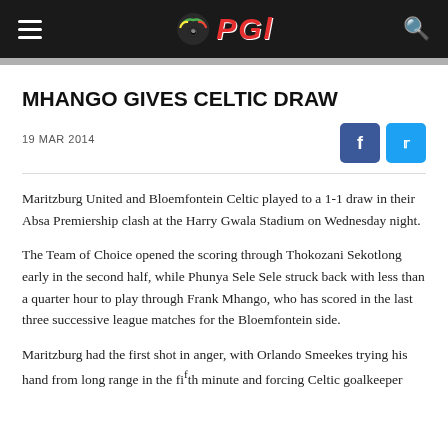PSL
MHANGO GIVES CELTIC DRAW
19 MAR 2014
Maritzburg United and Bloemfontein Celtic played to a 1-1 draw in their Absa Premiership clash at the Harry Gwala Stadium on Wednesday night.
The Team of Choice opened the scoring through Thokozani Sekotlong early in the second half, while Phunya Sele Sele struck back with less than a quarter hour to play through Frank Mhango, who has scored in the last three successive league matches for the Bloemfontein side.
Maritzburg had the first shot in anger, with Orlando Smeekes trying his hand from long range in the fifth minute and forcing Celtic goalkeeper